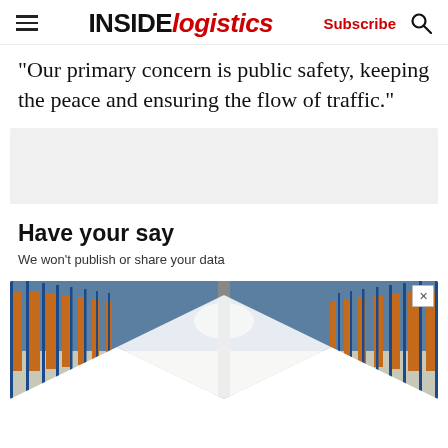INSIDE logistics — Subscribe
“Our primary concern is public safety, keeping the peace and ensuring the flow of traffic.”
[Figure (other): Gray rectangular advertisement placeholder banner]
Have your say
We won't publish or share your data
[Figure (photo): Warehouse interior showing blue and orange metal racking/shelving extending to the horizon, partially overlaid with white triangular graphic cutouts. A small close (X) button appears in the top-right corner.]